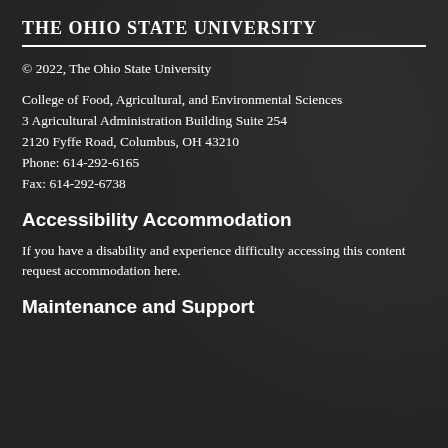The Ohio State University
© 2022, The Ohio State University
College of Food, Agricultural, and Environmental Sciences
3 Agricultural Administration Building Suite 254
2120 Fyffe Road, Columbus, OH 43210
Phone: 614-292-6165
Fax: 614-292-6738
Accessibility Accommodation
If you have a disability and experience difficulty accessing this content request accommodation here.
Maintenance and Support